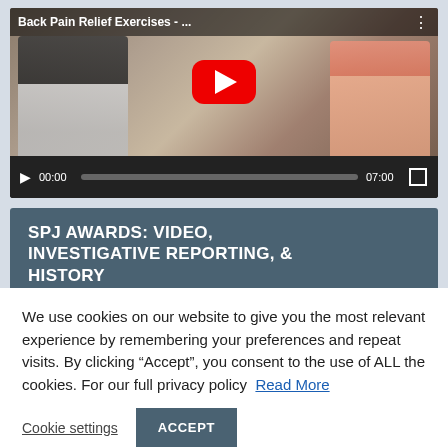[Figure (screenshot): Embedded video player showing 'Back Pain Relief Exercises - ...' with a YouTube-style play button overlay. Two people visible in thumbnail. Video controls show 00:00 current time and 07:00 total duration.]
SPJ AWARDS: VIDEO, INVESTIGATIVE REPORTING, & HISTORY
We use cookies on our website to give you the most relevant experience by remembering your preferences and repeat visits. By clicking “Accept”, you consent to the use of ALL the cookies. For our full privacy policy  Read More
Cookie settings
ACCEPT